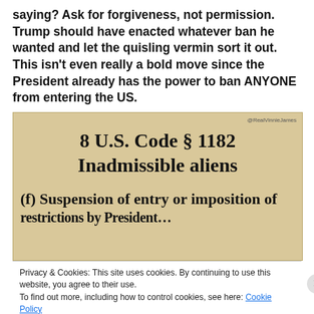saying? Ask for forgiveness, not permission. Trump should have enacted whatever ban he wanted and let the quisling vermin sort it out. This isn't even really a bold move since the President already has the power to ban ANYONE from entering the US.
[Figure (infographic): Image on parchment/beige background showing text: @RealVinnieJames, '8 U.S. Code § 1182 Inadmissible aliens', '(f) Suspension of entry or imposition of [restrictions by President]']
Privacy & Cookies: This site uses cookies. By continuing to use this website, you agree to their use.
To find out more, including how to control cookies, see here: Cookie Policy
Close and accept